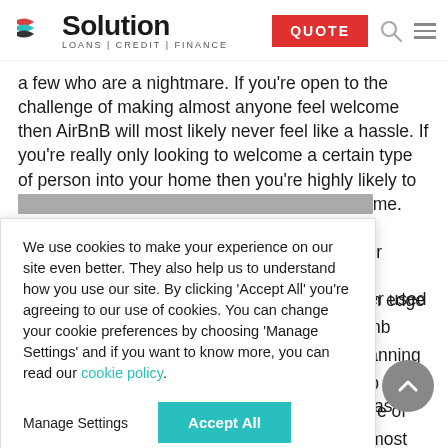Solution LOANS | CREDIT | FINANCE
a few who are a nightmare. If you're open to the challenge of making almost anyone feel welcome then AirBnB will most likely never feel like a hassle. If you're really only looking to welcome a certain type of person into your home then you're highly likely to find it difficult experience at least 50% of the time. Even if you're ...y for holidays or ...s on edge and
We use cookies to make your experience on our site even better. They also help us to understand how you use our site. By clicking 'Accept All' you're agreeing to our use of cookies. You can change your cookie preferences by choosing 'Manage Settings' and if you want to know more, you can read our cookie policy.
never used Airbnb n planning a trip to w one of the most ervices like nt hotel room
costing around £250 per night. So may be it was time to try AirBnb.